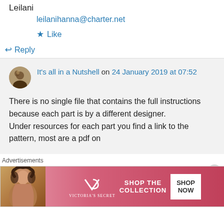Leilani
leilanihanna@charter.net
★ Like
↪ Reply
It's all in a Nutshell on 24 January 2019 at 07:52
There is no single file that contains the full instructions because each part is by a different designer.
Under resources for each part you find a link to the pattern, most are a pdf on
Advertisements
[Figure (illustration): Victoria's Secret advertisement banner with model, VS logo, 'SHOP THE COLLECTION' text, and 'SHOP NOW' button]